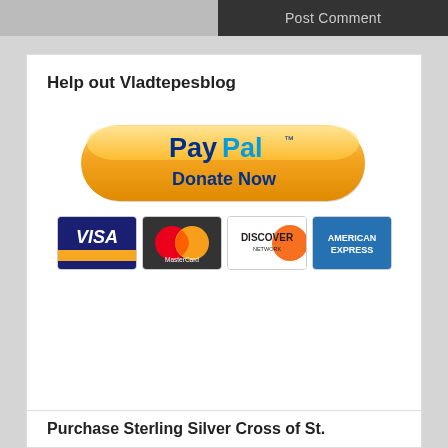Post Comment
Help out Vladtepesblog
[Figure (logo): PayPal Donate Now button with credit card logos: Visa, MasterCard, Discover, American Express]
Purchase Sterling Silver Cross of St.